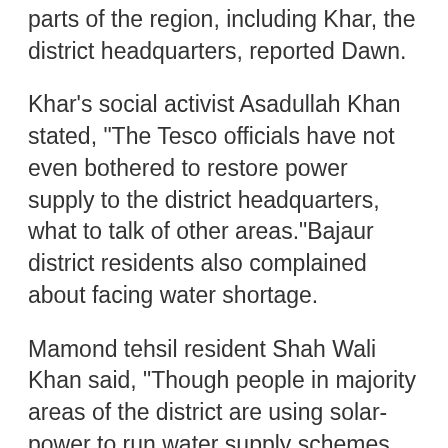parts of the region, including Khar, the district headquarters, reported Dawn.
Khar's social activist Asadullah Khan stated, "The Tesco officials have not even bothered to restore power supply to the district headquarters, what to talk of other areas."Bajaur district residents also complained about facing water shortage.
Mamond tehsil resident Shah Wali Khan said, "Though people in majority areas of the district are using solar-power to run water supply schemes, they did not function during the rain, causing water shortage."The residents demanded Tesco